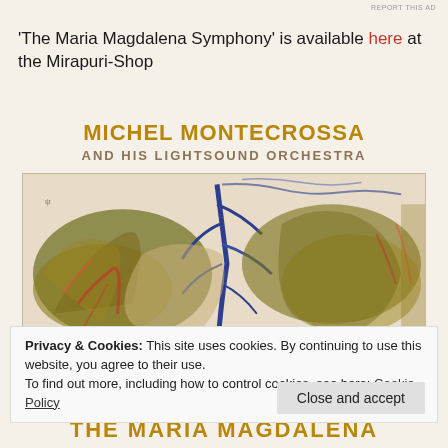REPORT THIS AD
'The Maria Magdalena Symphony' is available here at the Mirapuri-Shop
MICHEL MONTECROSSA
AND HIS LIGHTSOUND ORCHESTRA
[Figure (illustration): Abstract painting used as album cover artwork with brushstroke textures in olive green, brown, blue, red and cream tones]
Privacy & Cookies: This site uses cookies. By continuing to use this website, you agree to their use.
To find out more, including how to control cookies, see here: Cookie Policy
Close and accept
THE MARIA MAGDALENA